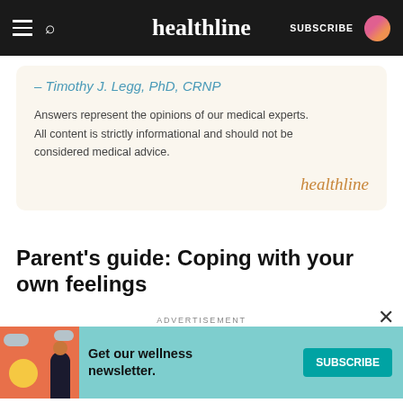healthline — SUBSCRIBE
– Timothy J. Legg, PhD, CRNP
Answers represent the opinions of our medical experts. All content is strictly informational and should not be considered medical advice.
Parent's guide: Coping with your own feelings
First and foremost, you're not to blame for your child's eating disorder. You may feel like it's your fault or like you did something wrong. The fact is, an eating
[Figure (screenshot): Advertisement banner: Get our wellness newsletter. SUBSCRIBE button on teal background with illustrated woman graphic.]